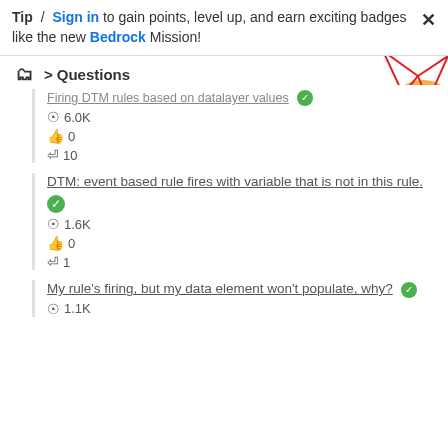Tip / Sign in to gain points, level up, and earn exciting badges like the new Bedrock Mission!
Questions
Firing DTM rules based on datalayer values ✓  👁 6.0K  👍 0  ↩ 10
DTM: event based rule fires with variable that is not in this rule. ✓  👁 1.6K  👍 0  ↩ 1
My rule's firing, but my data element won't populate, why? ✓  👁 1.1K